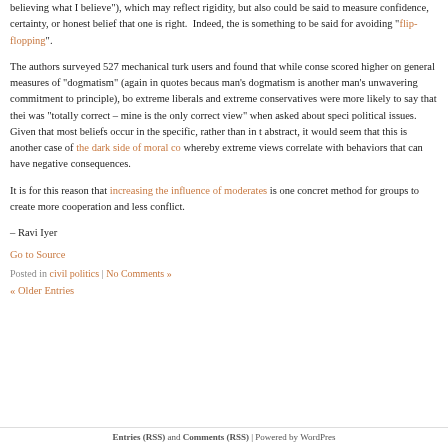believing what I believe"), which may reflect rigidity, but also could be said to measure confidence, certainty, or honest belief that one is right.  Indeed, there is something to be said for avoiding "flip-flopping".
The authors surveyed 527 mechanical turk users and found that while conservatives scored higher on general measures of "dogmatism" (again in quotes because one man's dogmatism is another man's unwavering commitment to principle), both extreme liberals and extreme conservatives were more likely to say that their view was "totally correct – mine is the only correct view" when asked about specific political issues.  Given that most beliefs occur in the specific, rather than in the abstract, it would seem that this is another case of the dark side of moral conviction whereby extreme views correlate with behaviors that can have negative consequences.
It is for this reason that increasing the influence of moderates is one concrete method for groups to create more cooperation and less conflict.
– Ravi Iyer
Go to Source
Posted in civil politics | No Comments »
« Older Entries
Entries (RSS) and Comments (RSS) | Powered by WordPress